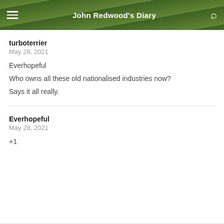John Redwood's Diary
turboterrier
May 28, 2021
Everhopeful
Who owns all these old nationalised industries now? Says it all really.
Everhopeful
May 28, 2021
+1